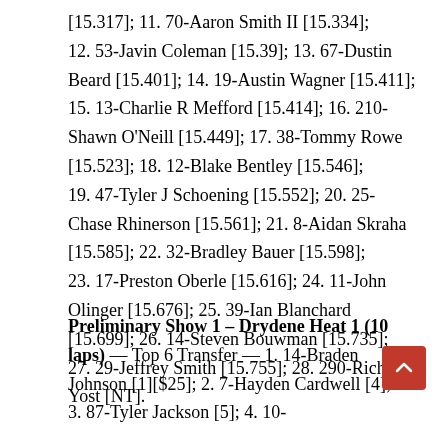[15.317]; 11. 70-Aaron Smith II [15.334]; 12. 53-Javin Coleman [15.39]; 13. 67-Dustin Beard [15.401]; 14. 19-Austin Wagner [15.411]; 15. 13-Charlie R Mefford [15.414]; 16. 210-Shawn O'Neill [15.449]; 17. 38-Tommy Rowe [15.523]; 18. 12-Blake Bentley [15.546]; 19. 47-Tyler J Schoening [15.552]; 20. 25-Chase Rhinerson [15.561]; 21. 8-Aidan Skraha [15.585]; 22. 32-Bradley Bauer [15.598]; 23. 17-Preston Oberle [15.616]; 24. 11-John Olinger [15.676]; 25. 39-Ian Blanchard [15.699]; 26. 14-Steven Bouwman [15.735]; 27. 29-Jeffrey Smith [15.755]; 28. 290-Richie Yost [NT].
Preliminary Show 1 – Drydene Heat 1 (10 laps) — Top 6 Transfer — 1. 14-Braden Johnson [1][$25]; 2. 7-Hayden Cardwell [4]; 3. 87-Tyler Jackson [5]; 4. 10-